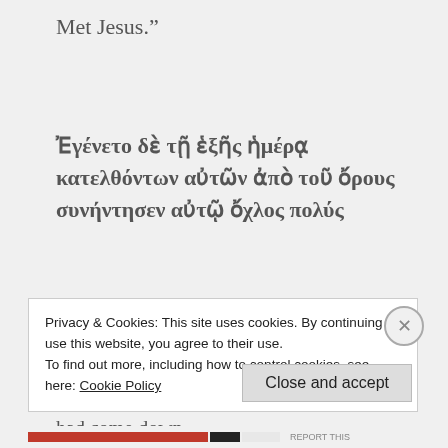Met Jesus.”
Ἐγένετο δὲ τῇ ἑξῆς ἡμέρᾳ κατελθόντων αὐτῶν ἀπὸ τοῦ ὄρους συνήντησεν αὐτῷ ὄχλος πολύς
Luke said that on the next day (Ἐγένετο δὲ τῇ ἑξῆς ἡμέρᾳ), after the transfiguration, when they had come down...
Privacy & Cookies: This site uses cookies. By continuing to use this website, you agree to their use.
To find out more, including how to control cookies, see here: Cookie Policy